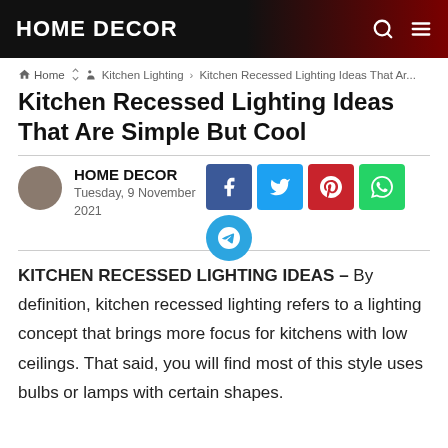HOME DECOR
Home › Kitchen Lighting › Kitchen Recessed Lighting Ideas That Ar...
Kitchen Recessed Lighting Ideas That Are Simple But Cool
HOME DECOR
Tuesday, 9 November 2021
[Figure (other): Social media share buttons: Facebook, Twitter, Pinterest, WhatsApp, Telegram]
KITCHEN RECESSED LIGHTING IDEAS – By definition, kitchen recessed lighting refers to a lighting concept that brings more focus for kitchens with low ceilings. That said, you will find most of this style uses bulbs or lamps with certain shapes.